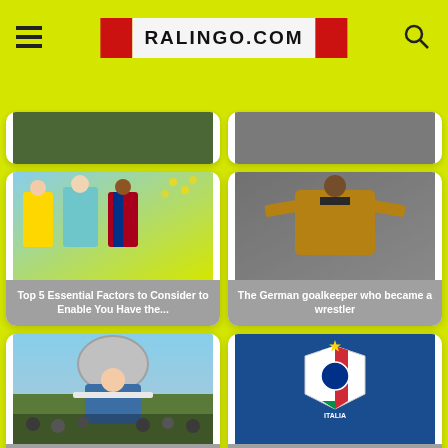RALINGO.COM
[Figure (photo): Partial card top row left - football players image cropped]
[Figure (photo): Partial card top row right - cropped image]
[Figure (photo): Card with football players in Dortmund and Barcelona jerseys - Top 5 Essential Factors to Consider to Enable You Have the...]
Top 5 Essential Factors to Consider to Enable You Have the...
[Figure (photo): Card with goalkeeper in yellow jersey - The German goalkeeper who became a wrestler]
The German goalkeeper who became a wrestler
[Figure (photo): Card with man holding trophy - The amazing coaching career of Otto Rehhagel]
The amazing coaching career of Otto Rehhagel
[Figure (photo): Card with Italian national team badge on blue background - The Italian National Football Team's remarkable undefeated...]
The Italian National Football Team's remarkable undefeated...